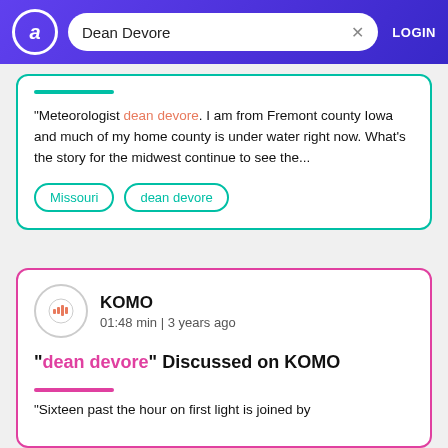Dean Devore | LOGIN
"Meteorologist dean devore. I am from Fremont county Iowa and much of my home county is under water right now. What's the story for the midwest continue to see the...
Missouri
dean devore
KOMO
01:48 min | 3 years ago
"dean devore" Discussed on KOMO
"Sixteen past the hour on first light is joined by